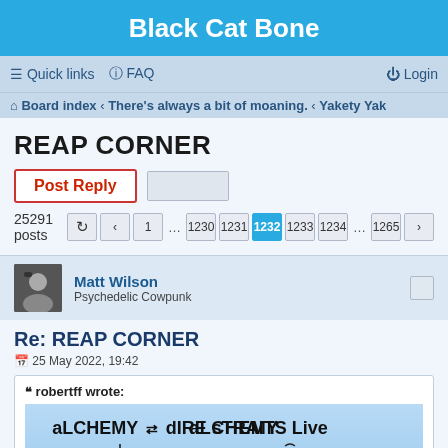Black Cat Bone
≡ Quick links  ? FAQ  Login
Board index › There's always a bit of moaning. › Yakety Yak
REAP CORNER
Post Reply
25291 posts  < 1 … 1230 1231 1232 1233 1234 … 1265 >
Matt Wilson
Psychedelic Cowpunk
Re: REAP CORNER
25 May 2022, 19:42
robertff wrote:
[Figure (photo): Album cover of Alchemy - Dire Straits Live, showing the text 'aLCHEMY ⇄ dIRE sTRAITS Live' at the top and surrealist artwork below with a blue sky background, featuring abstract figures and shapes.]